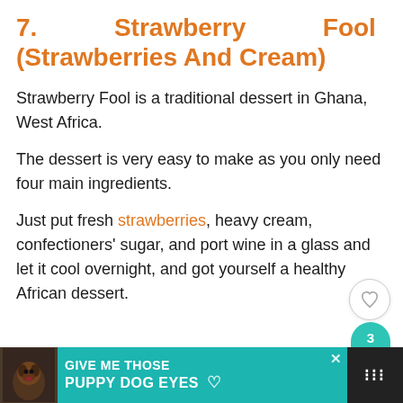7.   Strawberry Fool (Strawberries And Cream)
Strawberry Fool is a traditional dessert in Ghana, West Africa.
The dessert is very easy to make as you only need four main ingredients.
Just put fresh strawberries, heavy cream, confectioners' sugar, and port wine in a glass and let it cool overnight, and you got yourself a healthy African dessert.
[Figure (screenshot): Ad banner at the bottom: teal background with dog image and text 'GIVE ME THOSE PUPPY DOG EYES' in white bold text, with a heart icon. Right strip shows dark background with share/menu dots icon.]